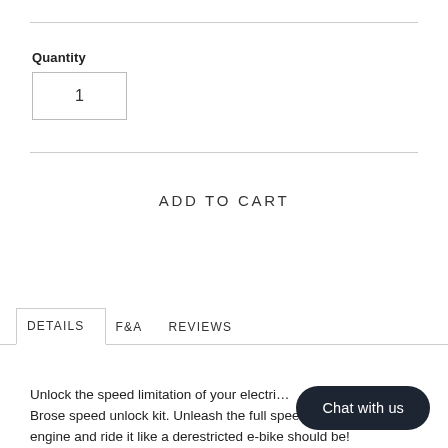Quantity
1
ADD TO CART
DETAILS
F&A
REVIEWS
Unlock the speed limitation of your electri… Brose speed unlock kit. Unleash the full speed of your ebike engine and ride it like a derestricted e-bike should be!
Chat with us